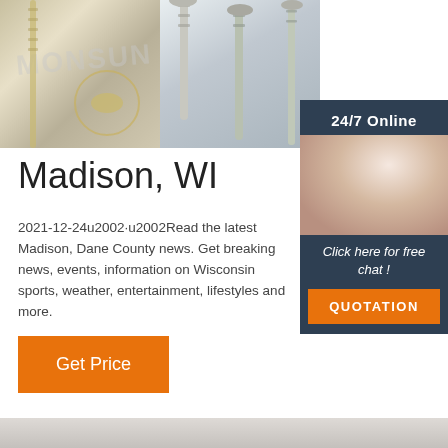[Figure (photo): Product photo of screws and fasteners with watermark text MONSUN, left half showing flat-head screws on wood surface with a circled screw, right half showing zinc-plated screws]
[Figure (photo): Sidebar with 24/7 Online header, photo of smiling woman with headset (customer service representative), and orange QUOTATION button with italic text 'Click here for free chat!']
Madison, WI
2021-12-24u2002·u2002Read the latest Madison, Dane County news. Get breaking news, events, information on Wisconsin sports, weather, entertainment, lifestyles and more.
[Figure (other): Orange Get Price button]
[Figure (photo): Bottom strip showing partial image, appears to be a textured surface]